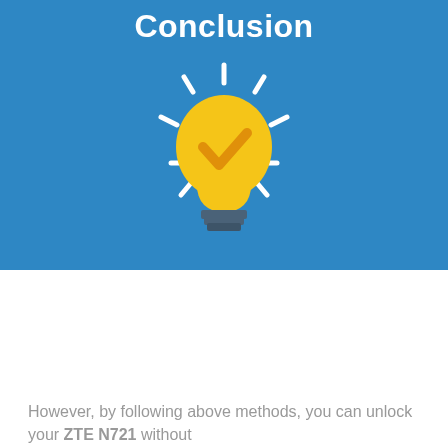Conclusion
[Figure (illustration): A yellow lightbulb with a checkmark inside, radiating light rays on a blue background]
It can be extremely frustrating when you are unable to unlock your own device for the reason being forgetting PIN, password or pattern lock.
However, by following above methods, you can unlock your ZTE N721 without